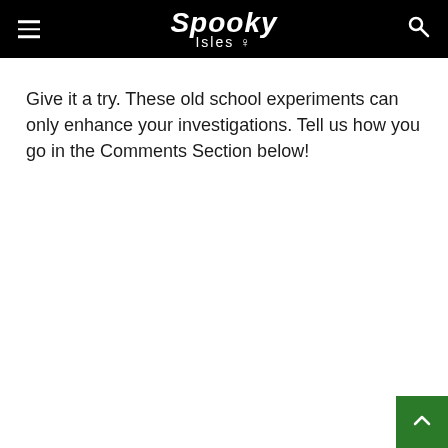Spooky Isles
Give it a try. These old school experiments can only enhance your investigations. Tell us how you go in the Comments Section below!